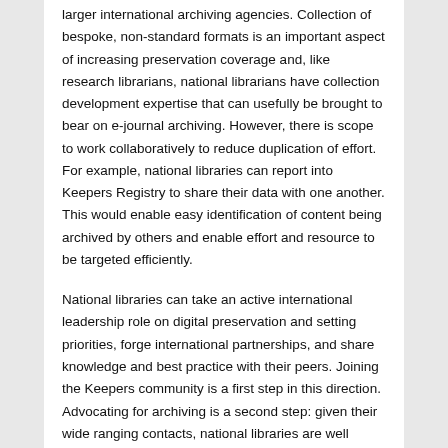larger international archiving agencies. Collection of bespoke, non-standard formats is an important aspect of increasing preservation coverage and, like research librarians, national librarians have collection development expertise that can usefully be brought to bear on e-journal archiving. However, there is scope to work collaboratively to reduce duplication of effort. For example, national libraries can report into Keepers Registry to share their data with one another. This would enable easy identification of content being archived by others and enable effort and resource to be targeted efficiently.
National libraries can take an active international leadership role on digital preservation and setting priorities, forge international partnerships, and share knowledge and best practice with their peers. Joining the Keepers community is a first step in this direction. Advocating for archiving is a second step: given their wide ranging contacts, national libraries are well placed to raise the topic with governments, research libraries, and publishers. The can also provide awareness building and training sessions for different stakeholder groups to